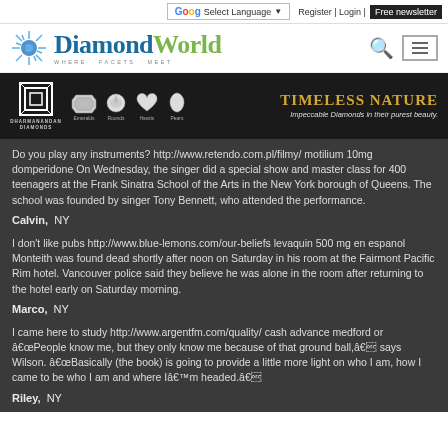Select Language | Register | Login | Free newsletter
[Figure (logo): DiamondWorld logo with starburst icon, Diamond in blue and World in green, WHERE FACETS MEET subtitle]
[Figure (photo): Dharmanandan Diamonds ad banner with gem images (Emeralds, Rounds, Hearts, Pears) and TIMELESS NATURE text]
Do you play any instruments? http://www.retendo.com.pl/filmy/ motilium 10mg domperidone On Wednesday, the singer did a special show and master class for 400 teenagers at the Frank Sinatra School of the Arts in the New York borough of Queens. The school was founded by singer Tony Bennett, who attended the performance.
Calvin, NY
I don't like pubs http://www.blue-lemons.com/our-beliefs levaquin 500 mg en espanol Monteith was found dead shortly after noon on Saturday in his room at the Fairmont Pacific Rim hotel. Vancouver police said they believe he was alone in the room after returning to the hotel early on Saturday morning.
Marco, NY
I came here to study http://www.argentfm.com/quality/ cash advance medford or âPeople know me, but they only know me because of that ground ball,â says Wilson. âBasically (the book) is going to provide a little more light on who I am, how I came to be who I am and where Iâm headed.â
Riley, NY